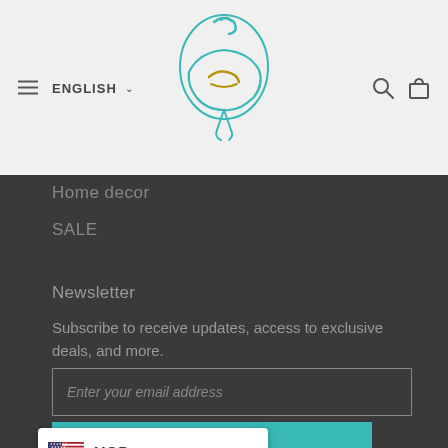[Figure (screenshot): Website header with hamburger menu, ENGLISH language selector, Arabic calligraphy logo, search and cart icons on a light gray background]
Home decor
SALE
Newsletter
Subscribe to receive updates, access to exclusive deals, and more.
[Figure (screenshot): Email input field with placeholder text 'Enter your email address']
[Figure (screenshot): Teal SUBSCRIBE button and USD currency selector with US flag]
[Figure (screenshot): USD currency dropdown with US flag showing USD and dropdown arrow]